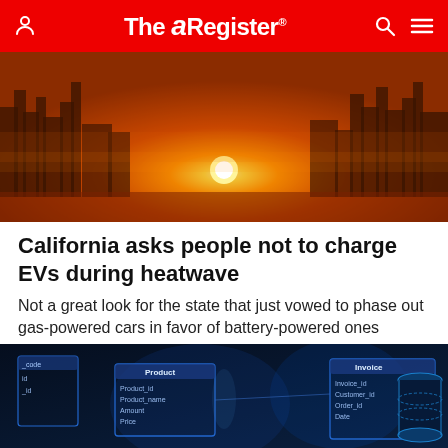The Register
[Figure (photo): Orange-hued cityscape at sunset with silhouetted skyscrapers and a bright sun low on the horizon, heavy warm golden-orange atmosphere.]
California asks people not to charge EVs during heatwave
Not a great look for the state that just vowed to phase out gas-powered cars in favor of battery-powered ones
PERSONAL TECH   1 hr | 11
[Figure (screenshot): Dark blue-toned image of database schema diagram with table boxes labeled Product, Invoice, showing fields like Product_id, Product_name, Amount, Invoice_id, Customer_id, Order_id, with a cylindrical database icon on the right.]